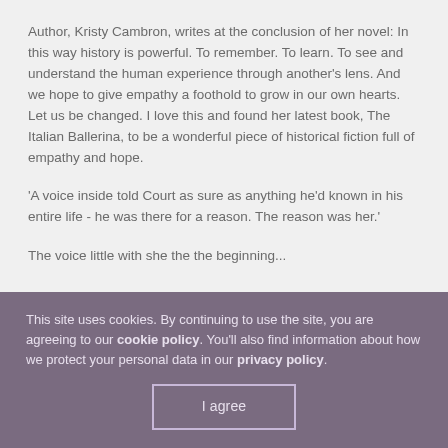Author, Kristy Cambron, writes at the conclusion of her novel: In this way history is powerful. To remember. To learn. To see and understand the human experience through another's lens. And we hope to give empathy a foothold to grow in our own hearts. Let us be changed. I love this and found her latest book, The Italian Ballerina, to be a wonderful piece of historical fiction full of empathy and hope.
'A voice inside told Court as sure as anything he'd known in his entire life - he was there for a reason. The reason was her.'
The voice little with she the the beginning...
This site uses cookies. By continuing to use the site, you are agreeing to our cookie policy. You'll also find information about how we protect your personal data in our privacy policy.